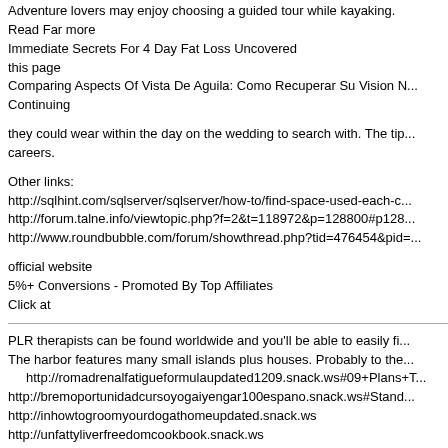Adventure lovers may enjoy choosing a guided tour while kayaking.
Read Far more
Immediate Secrets For 4 Day Fat Loss Uncovered
this page
Comparing Aspects Of Vista De Aguila: Como Recuperar Su Vision N...
Continuing
they could wear within the day on the wedding to search with. The tip...
careers.
Other links:
http://sqlhint.com/sqlserver/sqlserver/how-to/find-space-used-each-c...
http://forum.talne.info/viewtopic.php?f=2&t=118972&p=128800#p128...
http://www.roundbubble.com/forum/showthread.php?tid=476454&pid=...
official website
5%+ Conversions - Promoted By Top Affiliates
Click at
PLR therapists can be found worldwide and you'll be able to easily fi...
The harbor features many small islands plus houses. Probably to the...
  http://romadrenalfatigueformulaupdated1209.snack.ws#09+Plans+T...
http://bremoportunidadcursoyogaiyengar100espano.snack.ws#Stand...
http://inhowtogroomyourdogathomeupdated.snack.ws
http://unfattyliverfreedomcookbook.snack.ws
http://cysimagicphotoimageandphotoenhancementso.snack.ws#For+...
Glamorous Classic Car Auctions. </b> There a variety of accessories...
Other links:
http://www.guibaba.com/space-uid-52513.html
click through the following document
Do Not Take Out A Debt Without Checking A Personal Loans Calcula...
http://www.cisoso.com/content/diabetes-herbal-remedies-do-they-rea...
More recommended reading: the fastest the internet has to change...